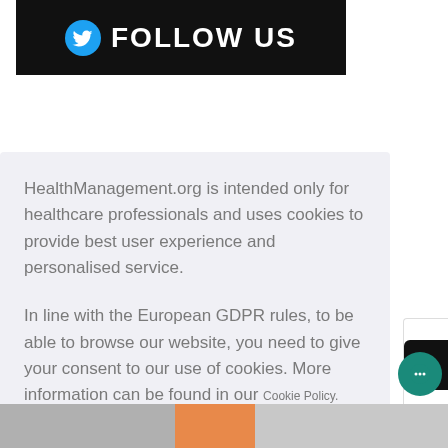[Figure (infographic): Twitter Follow Us banner with Twitter bird icon and white FOLLOW US text on dark background]
HealthManagement.org is intended only for healthcare professionals and uses cookies to provide best user experience and personalised service.
In line with the European GDPR rules, to be able to browse our website, you need to give your consent to our use of cookies. More information can be found in our Cookie Policy.
I am a healthcare professional and consent to the use of cookies